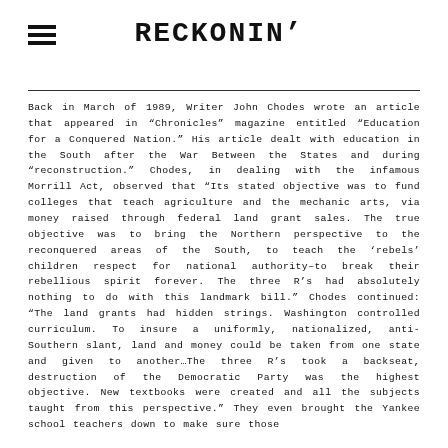RECKONIN'
Back in March of 1989, Writer John Chodes wrote an article that appeared in “Chronicles” magazine entitled “Education for a Conquered Nation.” His article dealt with education in the South after the War Between the States and during “construction.” Chodes, in dealing with the infamous Morrill Act, observed that “Its stated objective was to fund colleges that teach agriculture and the mechanic arts, via money raised through federal land grant sales. The true objective was to bring the Northern perspective to the reconquered areas of the South, to teach the ‘rebels’ children respect for national authority–to break their rebellious spirit forever. The three R’s had absolutely nothing to do with this landmark bill.” Chodes continued: “The land grants had hidden strings. Washington controlled curriculum. To insure a uniformly, nationalized, anti-Southern slant, land and money could be taken from one state and given to another…The three R’s took a backseat, destruction of the Democratic Party was the highest objective. New textbooks were created and all the subjects taught from this perspective.” They even brought the Yankee school teachers down to make sure those